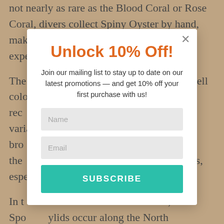not nearly as rare as the Blood Coral or Rose Coral, divers collect Spiny Oyster by hand, making the work laborious and relatively expensive, with some risks.
The ... Bivalve shell colors include orange, red, ... distinct ... variations. One also finds pink, red, brown, yellow, orange, and white. So the ... The Yellow Spiny Oysters ... especially rare.
In the American Oceans, the Spondylids occur along the North American ... No...
[Figure (other): A modal popup overlay on top of article text. The modal contains: a title 'Unlock 10% Off!' in orange, body text 'Join our mailing list to stay up to date on our latest promotions — and get 10% off your first purchase with us!', a Name input field, an Email input field, and a teal SUBSCRIBE button. A close X button is in the top-right corner of the modal.]